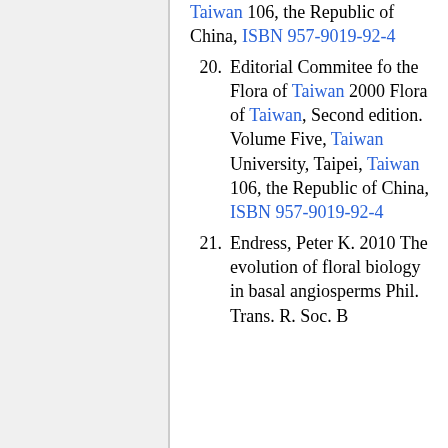Taiwan 106, the Republic of China, ISBN 957-9019-92-4
20. Editorial Commitee fo the Flora of Taiwan 2000 Flora of Taiwan, Second edition. Volume Five, Taiwan University, Taipei, Taiwan 106, the Republic of China, ISBN 957-9019-92-4
21. Endress, Peter K. 2010 The evolution of floral biology in basal angiosperms Phil. Trans. R. Soc. B